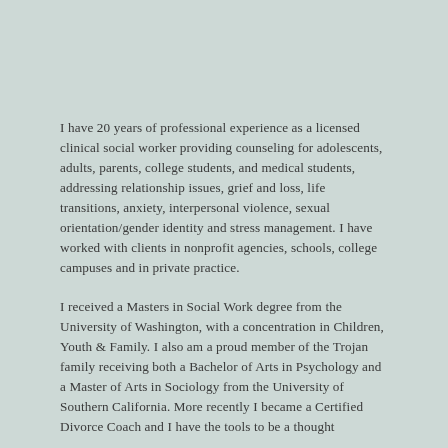I have 20 years of professional experience as a licensed clinical social worker providing counseling for adolescents, adults, parents, college students, and medical students, addressing relationship issues, grief and loss, life transitions, anxiety, interpersonal violence, sexual orientation/gender identity and stress management. I have worked with clients in nonprofit agencies, schools, college campuses and in private practice.
I received a Masters in Social Work degree from the University of Washington, with a concentration in Children, Youth & Family. I also am a proud member of the Trojan family receiving both a Bachelor of Arts in Psychology and a Master of Arts in Sociology from the University of Southern California. More recently I became a Certified Divorce Coach and I have the tools to be a thought